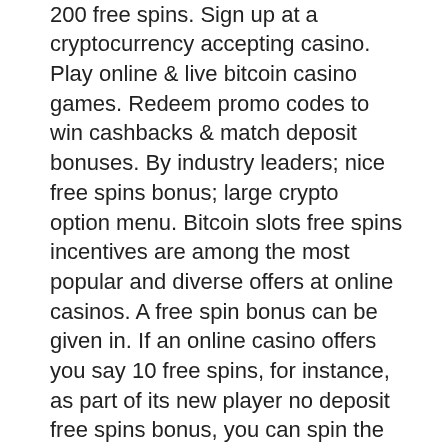gr... &amp; get up to £100 bonus and 200 free spins. Sign up at a cryptocurrency accepting casino. Play online &amp; live bitcoin casino games. Redeem promo codes to win cashbacks &amp; match deposit bonuses. By industry leaders; nice free spins bonus; large crypto option menu. Bitcoin slots free spins incentives are among the most popular and diverse offers at online casinos. A free spin bonus can be given in. If an online casino offers you say 10 free spins, for instance, as part of its new player no deposit free spins bonus, you can spin the reels of. No deposit bonus for registration. We commonly see bitcoin casino sites attracting new users with large deposit bonuses. Best bitcoin casinos free spins bonus with deposit ; slottica casino logo dark background. Sign-up and get 50 free spins at 777 gems ; bc. 5 pound deposit casino sites